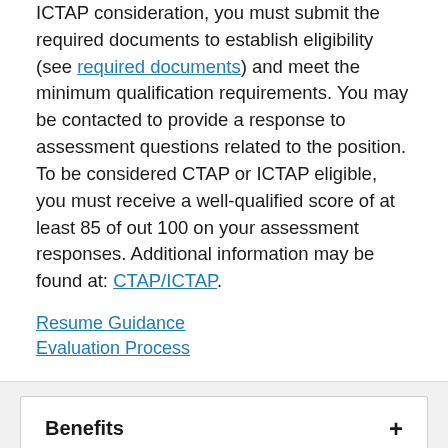ICTAP consideration, you must submit the required documents to establish eligibility (see required documents) and meet the minimum qualification requirements. You may be contacted to provide a response to assessment questions related to the position. To be considered CTAP or ICTAP eligible, you must receive a well-qualified score of at least 85 of out 100 on your assessment responses. Additional information may be found at: CTAP/ICTAP.
Resume Guidance
Evaluation Process
Benefits
Required Documents